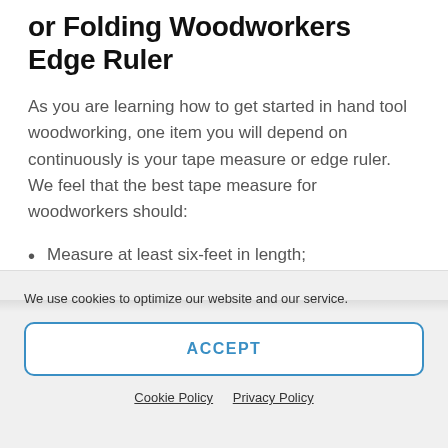or Folding Woodworkers Edge Ruler
As you are learning how to get started in hand tool woodworking, one item you will depend on continuously is your tape measure or edge ruler. We feel that the best tape measure for woodworkers should:
Measure at least six-feet in length;
Have 1/8-inch markings at minimum;
We use cookies to optimize our website and our service.
ACCEPT
Cookie Policy   Privacy Policy